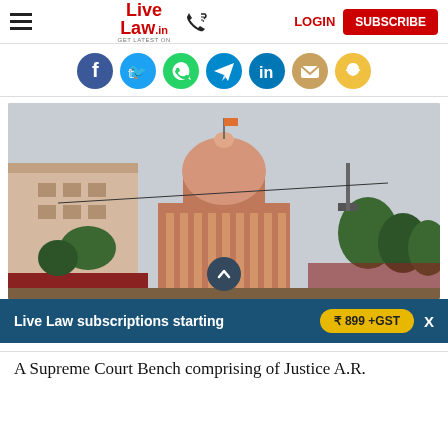Live Law | LOGIN | SUBSCRIBE
[Figure (logo): Live Law logo with phone icon, hamburger menu, LOGIN link and SUBSCRIBE red button]
[Figure (infographic): Row of social media share icons: Facebook (blue), Twitter (light blue), WhatsApp (green), Telegram (blue), LinkedIn (dark blue), Email (gold), Snapchat (yellow)]
[Figure (photo): Photograph of the Supreme Court of India building showing the iconic dome, red sandstone architecture, trees around it, overcast sky]
Live Law subscriptions starting ₹ 899 +GST X
A Supreme Court Bench comprising of Justice A.R.